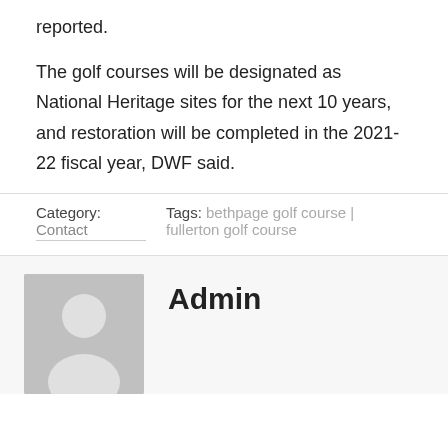reported.
The golf courses will be designated as National Heritage sites for the next 10 years, and restoration will be completed in the 2021-22 fiscal year, DWF said.
Category: Contact   Tags: bethpage golf course | fullerton golf course
Admin